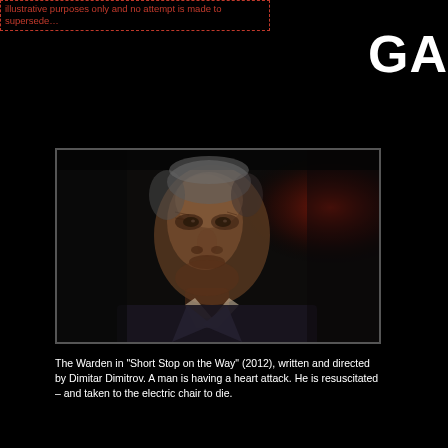illustrative purposes only and no attempt is made to supersede...
GA
[Figure (photo): Close-up portrait of a middle-aged man in a dark suit with white shirt, serious expression, dark dramatic background with a reddish light source on the right. The Warden character.]
The Warden in “Short Stop on the Way” (2012), written and directed by Dimitar Dimitrov. A man is having a heart attack. He is resuscitated – and taken to the electric chair to die.